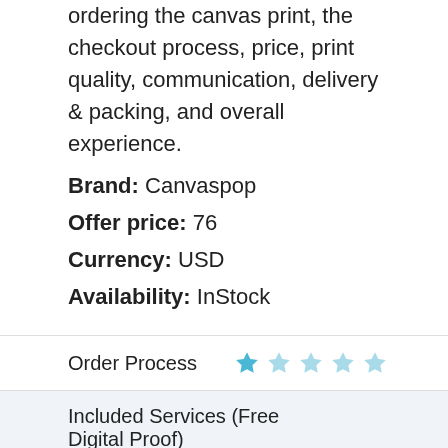ordering the canvas print, the checkout process, price, print quality, communication, delivery & packing, and overall experience.
Brand: Canvaspop
Offer price: 76
Currency: USD
Availability: InStock
Order Process
Included Services (Free Digital Proof)